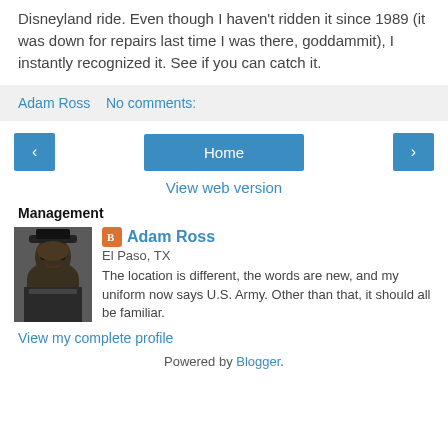Disneyland ride. Even though I haven't ridden it since 1989 (it was down for repairs last time I was there, goddammit), I instantly recognized it. See if you can catch it.
Adam Ross   No comments:
[Figure (screenshot): Navigation buttons: left chevron button, Home button, right chevron button, and View web version link]
Management
[Figure (photo): Profile photo of a person in dark historical costume with top hat]
Adam Ross
El Paso, TX
The location is different, the words are new, and my uniform now says U.S. Army. Other than that, it should all be familiar.
View my complete profile
Powered by Blogger.